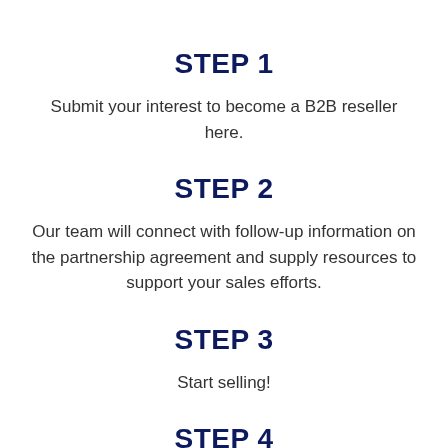STEP 1
Submit your interest to become a B2B reseller here.
STEP 2
Our team will connect with follow-up information on the partnership agreement and supply resources to support your sales efforts.
STEP 3
Start selling!
STEP 4